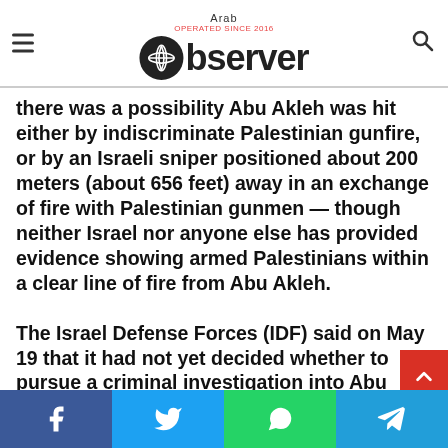Arab Observer — OPERATED SINCE 2016
The Israeli military says it is not clear who fired the fatal bullet. Following an inquiry, the army said there was a possibility Abu Akleh was hit either by indiscriminate Palestinian gunfire, or by an Israeli sniper positioned about 200 meters (about 656 feet) away in an exchange of fire with Palestinian gunmen — though neither Israel nor anyone else has provided evidence showing armed Palestinians within a clear line of fire from Abu Akleh.
The Israel Defense Forces (IDF) said on May 19 that it had not yet decided whether to pursue a criminal investigation into Abu Akleh's death. On Monday, the Israeli military's top lawyer, Major General Yifat Tomer-Yerushalmi, said in a speech that under the military's policy, a criminal investigation is not automatically launched if a person is killed in the